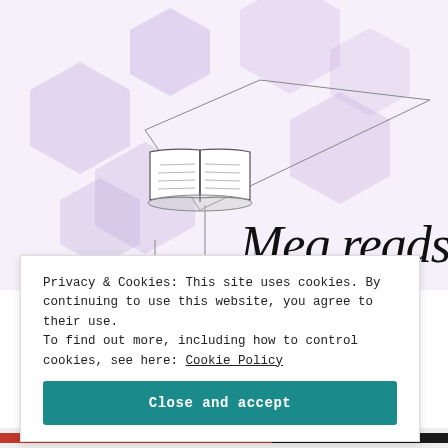[Figure (illustration): Blog header illustration for 'Meg reads' — watercolor lavender/purple hexagon shapes in background, line-art drawing of an open book on a stand, geometric diamond/triangular lines, and cursive script text reading 'Meg reads']
Privacy & Cookies: This site uses cookies. By continuing to use this website, you agree to their use. To find out more, including how to control cookies, see here: Cookie Policy
Close and accept